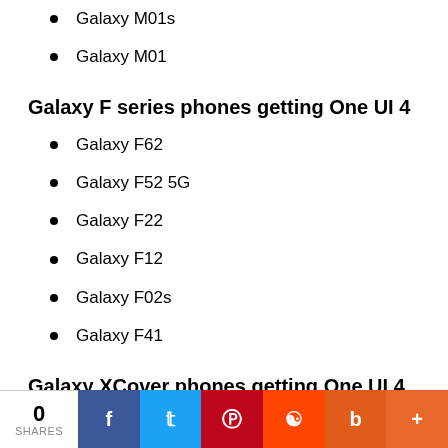Galaxy M01s
Galaxy M01
Galaxy F series phones getting One UI 4
Galaxy F62
Galaxy F52 5G
Galaxy F22
Galaxy F12
Galaxy F02s
Galaxy F41
Galaxy XCover phones getting One UI 4
Galaxy XCover 5
Galaxy XCover Pro
When will my Samsung Galaxy phone get the